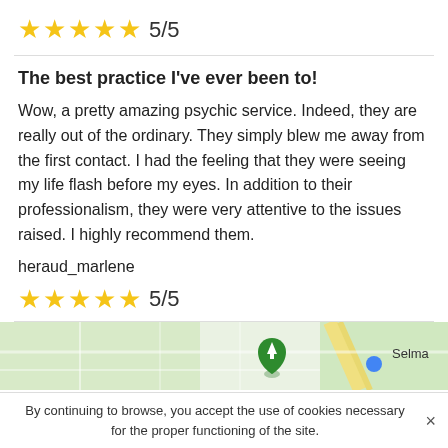[Figure (other): Five gold stars rating with text 5/5]
The best practice I've ever been to!
Wow, a pretty amazing psychic service. Indeed, they are really out of the ordinary. They simply blew me away from the first contact. I had the feeling that they were seeing my life flash before my eyes. In addition to their professionalism, they were very attentive to the issues raised. I highly recommend them.
heraud_marlene
[Figure (other): Five gold stars rating with text 5/5]
[Figure (map): Google Maps view showing area near Selma with green location pin and road network]
By continuing to browse, you accept the use of cookies necessary for the proper functioning of the site.